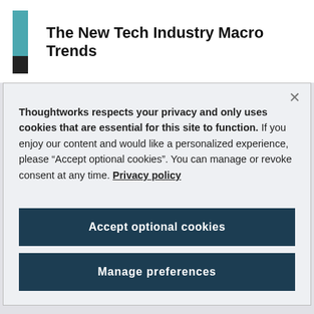The New Tech Industry Macro Trends
Thoughtworks respects your privacy and only uses cookies that are essential for this site to function. If you enjoy our content and would like a personalized experience, please “Accept optional cookies”. You can manage or revoke consent at any time. Privacy policy
Accept optional cookies
Manage preferences